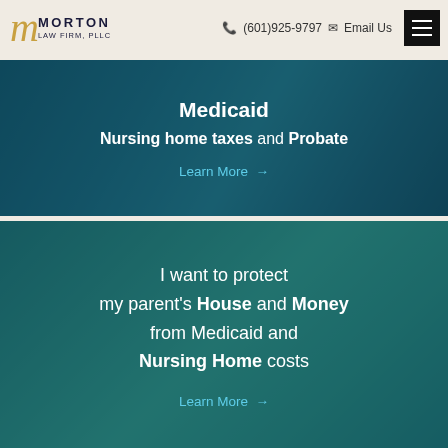Morton Law Firm, PLLC | (601)925-9797 | Email Us
[Figure (photo): Dark teal-overlaid photo of person signing documents, with text: Medicaid, Nursing home taxes and Probate, Learn More →]
[Figure (photo): Teal-overlaid photo of a family group outdoors, with text: I want to protect my parent's House and Money from Medicaid and Nursing Home costs, Learn More →]